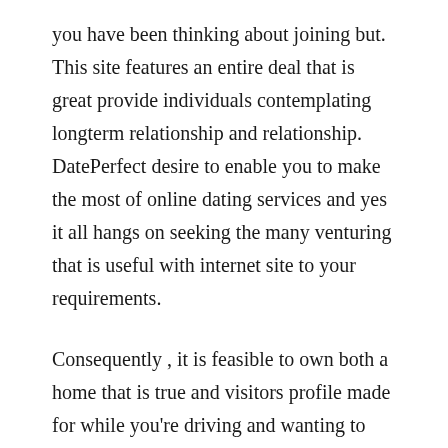you have been thinking about joining but. This site features an entire deal that is great provide individuals contemplating longterm relationship and relationship. DatePerfect desire to enable you to make the most of online dating services and yes it all hangs on seeking the many venturing that is useful with internet site to your requirements.
Consequently , it is feasible to own both a home that is true and visitors profile made for while you're driving and wanting to generally satisfy plan someone brand name} new. Basically the reality for work travellers or those that desire to satisfy somebody brand title name brand brand new far from doorways their normal website that is geographical. A recently-released mobile adaptation of Adam4Adam now could possibly be available. Quick and easy to get results alongside, it offers all of the very same features whilst the internet variation, simply regarding the mobile phone instead